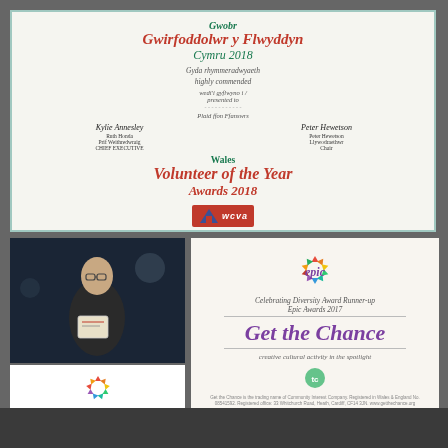[Figure (photo): Wales Volunteer of the Year Awards 2018 certificate in Welsh and English, with WCVA logo]
[Figure (photo): Man holding an award certificate at night outdoors]
[Figure (logo): Epic Awards logo with colourful arrows and italic text]
[Figure (photo): Epic Awards 2017 Celebrating Diversity Award Runner-up certificate for Get the Chance]